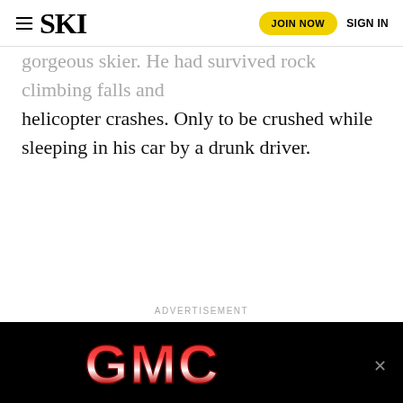SKI | JOIN NOW | SIGN IN
gorgeous skier. He had survived rock climbing falls and helicopter crashes. Only to be crushed while sleeping in his car by a drunk driver.
ADVERTISEMENT
[Figure (other): GMC advertisement banner with red GMC logo on black background]